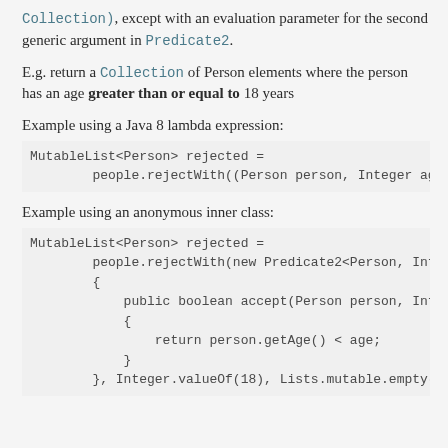Collection), except with an evaluation parameter for the second generic argument in Predicate2.
E.g. return a Collection of Person elements where the person has an age greater than or equal to 18 years
Example using a Java 8 lambda expression:
MutableList<Person> rejected =
        people.rejectWith((Person person, Integer ag
Example using an anonymous inner class:
MutableList<Person> rejected =
        people.rejectWith(new Predicate2<Person, Int
        {
            public boolean accept(Person person, Int
            {
                return person.getAge() < age;
            }
        }, Integer.valueOf(18), Lists.mutable.empty(